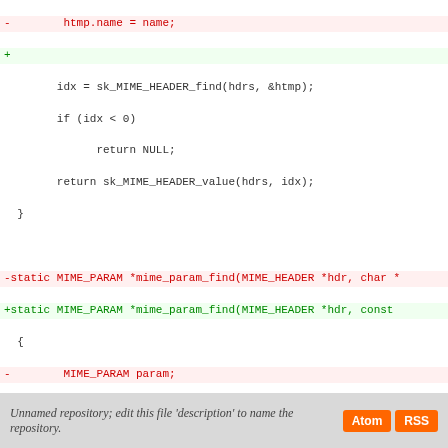[Figure (screenshot): Code diff view showing a patch to a C source file. Lines show removal (red, prefix '-') and addition (green, prefix '+') of code involving MIME_PARAM and mime_bound_check functions. A hunk header in purple shows @@ -918,7 +918,7 @@. Context lines in dark. One added line has green highlight background.]
Unnamed repository; edit this file 'description' to name the repository.